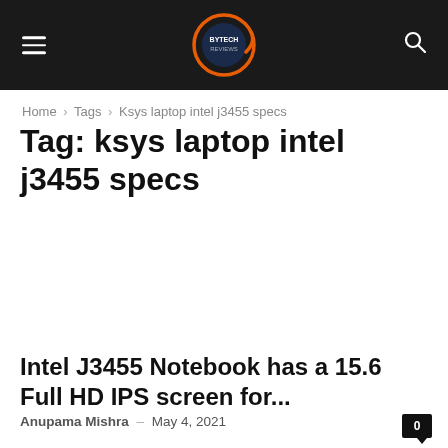≡  [Logo] 🔍
Home › Tags › Ksys laptop intel j3455 specs
Tag: ksys laptop intel j3455 specs
Intel J3455 Notebook has a 15.6 Full HD IPS screen for...
Anupama Mishra – May 4, 2021